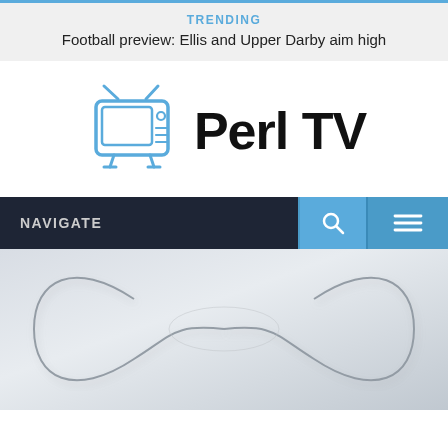TRENDING
Football preview: Ellis and Upper Darby aim high
[Figure (logo): Perl TV logo with stylized TV icon and text 'Perl TV']
NAVIGATE
[Figure (photo): Infinity symbol made of metallic silver ribbons on light grey background]